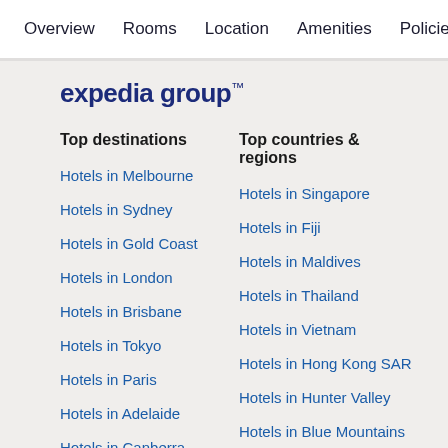Overview  Rooms  Location  Amenities  Policies  Reviews
[Figure (logo): Expedia Group logo in dark blue bold text]
Top destinations
Top countries & regions
Hotels in Melbourne
Hotels in Singapore
Hotels in Sydney
Hotels in Fiji
Hotels in Gold Coast
Hotels in Maldives
Hotels in London
Hotels in Thailand
Hotels in Brisbane
Hotels in Vietnam
Hotels in Tokyo
Hotels in Hong Kong SAR
Hotels in Paris
Hotels in Hunter Valley
Hotels in Adelaide
Hotels in Blue Mountains
Hotels in Canberra
Hotels in Mornington Peninsula
Hotels in New York
Hotels in Central Coast